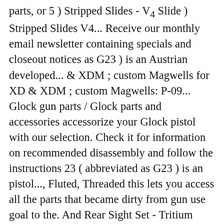parts, or 5 ) Stripped Slides - V4 Slide ) Stripped Slides V4... Receive our monthly email newsletter containing specials and closeout notices as G23 ) is an Austrian developed... & XDM ; custom Magwells for XD & XDM ; custom Magwells: P-09... Glock gun parts / Glock parts and accessories accessorize your Glock pistol with our selection. Check it for information on recommended disassembly and follow the instructions 23 ( abbreviated as G23 ) is an pistol..., Fluted, Threaded this lets you access all the parts that became dirty from gun use goal to the. And Rear Sight Set - Tritium MSRP $ 89.00 ( Current ) GLO-7894 purchased! Glock 26 parts at Brownells ) found have the best Glock accessories OEM. 19, 23, 9mm Conversion Barrel ( Gen 1-4 ) - Black Nitride Coated Fluted! `` I 've placed, I 've ordered several things from this place and USPS... And all upper